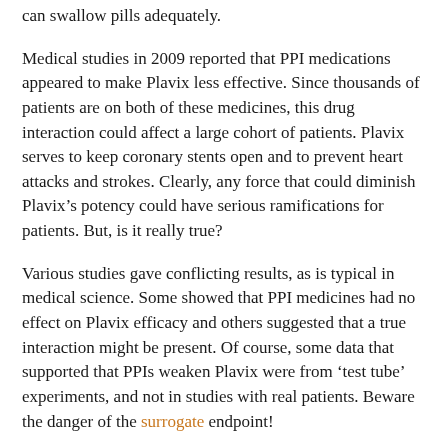can swallow pills adequately.
Medical studies in 2009 reported that PPI medications appeared to make Plavix less effective. Since thousands of patients are on both of these medicines, this drug interaction could affect a large cohort of patients. Plavix serves to keep coronary stents open and to prevent heart attacks and strokes. Clearly, any force that could diminish Plavix’s potency could have serious ramifications for patients. But, is it really true?
Various studies gave conflicting results, as is typical in medical science. Some showed that PPI medicines had no effect on Plavix efficacy and others suggested that a true interaction might be present. Of course, some data that supported that PPIs weaken Plavix were from ‘test tube’ experiments, and not in studies with real patients. Beware the danger of the surrogate endpoint!
At first, this was causing consternation for PPI-loving gastroenterologists and Plavix-pushing cardiologists. Who would prevail in this conflict?